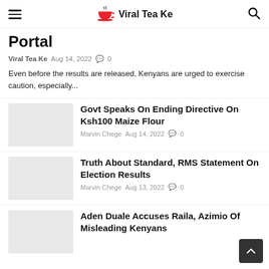Viral Tea Ke
Portal
Viral Tea Ke   Aug 14, 2022   0
Even before the results are released, Kenyans are urged to exercise caution, especially...
[Figure (photo): Thumbnail image placeholder]
Govt Speaks On Ending Directive On Ksh100 Maize Flour
Marvin Chege   Aug 14, 2022   0
[Figure (photo): Thumbnail image placeholder]
Truth About Standard, RMS Statement On Election Results
Marvin Chege   Aug 13, 2022   0
[Figure (photo): Thumbnail image placeholder]
Aden Duale Accuses Raila, Azimio Of Misleading Kenyans